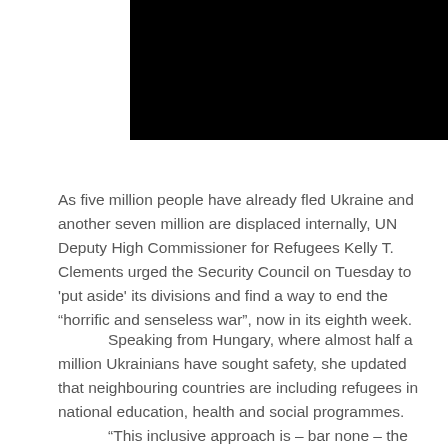[Figure (other): Black redacted/banner image at the top of the page]
As five million people have already fled Ukraine and another seven million are displaced internally, UN Deputy High Commissioner for Refugees Kelly T. Clements urged the Security Council on Tuesday to 'put aside' its divisions and find a way to end the “horric and senseless war”, now in its eighth week.
Speaking from Hungary, where almost half a million Ukrainians have sought safety, she updated that neighbouring countries are including refugees in national education, health and social programmes.
“This inclusive approach is – bar none – the best way